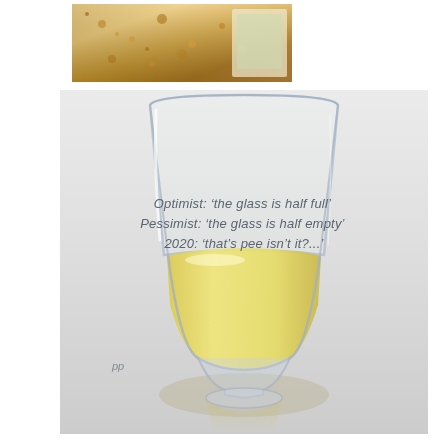[Figure (photo): Small photo at the top showing a close-up of a food item (appears to be a breaded/coated snack or pastry with golden-brown coating), partially cropped.]
[Figure (photo): A stemless wine glass half-filled with pale yellow liquid (white wine or similar), photographed on a light gray background. The glass has text etched or overlaid on it reading: 'Optimist: the glass is half full' / 'Pessimist: the glass is half empty' / '2020: that's pee isn't it?...' There is a small 'pp' watermark in the lower left area of the image. The glass casts a soft reflection beneath it.]
Optimist: 'the glass is half full'
Pessimist: 'the glass is half empty'
2020: 'that's pee isn't it?...'